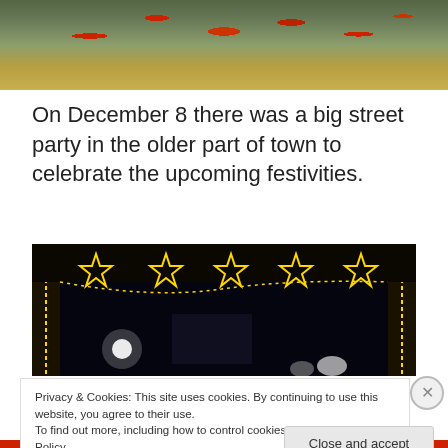[Figure (photo): Top portion of a holiday decoration photo showing red poinsettias and greenery from above]
On December 8 there was a big street party in the older part of town to celebrate the upcoming festivities.
[Figure (photo): Night photo of a town street decorated with golden star-shaped Christmas lights forming an archway over the street, with people visible below]
Privacy & Cookies: This site uses cookies. By continuing to use this website, you agree to their use.
To find out more, including how to control cookies, see here: Cookie Policy